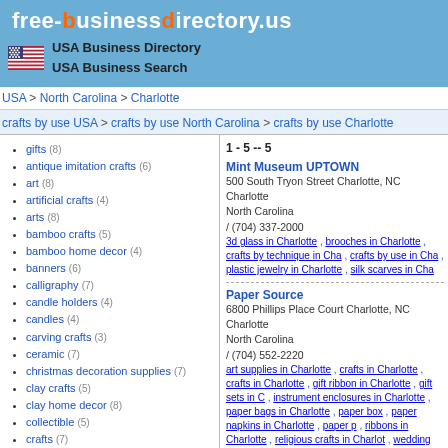free-businessdirectory.us — USA Business Directory USA Business Search
USA > North Carolina > Charlotte
crafts by use USA > crafts by use North Carolina > crafts by use Charlotte
1 - 5 -- 5
gifts (8)
antique imitation crafts (6)
art (8)
artificial crafts (4)
arts (8)
bamboo crafts (5)
bamboo home decor (4)
banners (6)
calligraphy (7)
candle holders (4)
candles (4)
carving crafts (3)
ceramic (7)
christmas decoration supplies (7)
clay crafts (5)
clay home decor (8)
collectible (5)
crafts (7)
crafts agents (4)
crafts by material (7)
crafts by style (5)
crafts by technique (4)
Mint Museum UPTOWN
500 South Tryon Street Charlotte, NC
Charlotte
North Carolina
/ (704) 337-2000
3d glass in Charlotte , brooches in Charlotte , crafts by technique in Charlotte , crafts by use in Charlotte , plastic jewelry in Charlotte , silk scarves in Charlotte
Paper Source
6800 Phillips Place Court Charlotte, NC
Charlotte
North Carolina
/ (704) 552-2220
art supplies in Charlotte , crafts in Charlotte , crafts in Charlotte , gift ribbon in Charlotte , gift sets in Charlotte , instrument enclosures in Charlotte , paper bags in Charlotte , paper boxes in Charlotte , paper napkins in Charlotte , paper products — ribbons in Charlotte , religious crafts in Charlotte , wedding wrap in Charlotte , writing in Charlotte